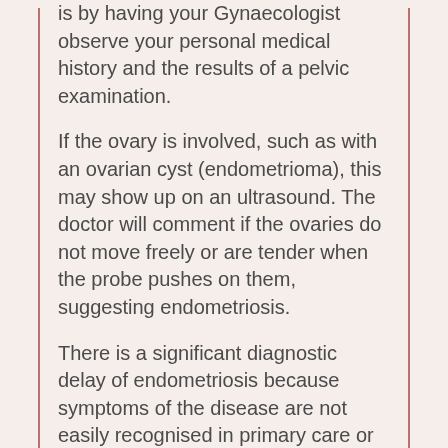is by having your Gynaecologist observe your personal medical history and the results of a pelvic examination.
If the ovary is involved, such as with an ovarian cyst (endometrioma), this may show up on an ultrasound. The doctor will comment if the ovaries do not move freely or are tender when the probe pushes on them, suggesting endometriosis.
There is a significant diagnostic delay of endometriosis because symptoms of the disease are not easily recognised in primary care or even by women themselves. Endometriosis can only be diagnosed via laparoscopy with “visual inspection” unless disease is visible in the vagina or elsewhere, today there is no simple test that can be used to diagnose endometriosis, which may be why there is a diagnostic delay of up to 12 years in some healthcare settings.